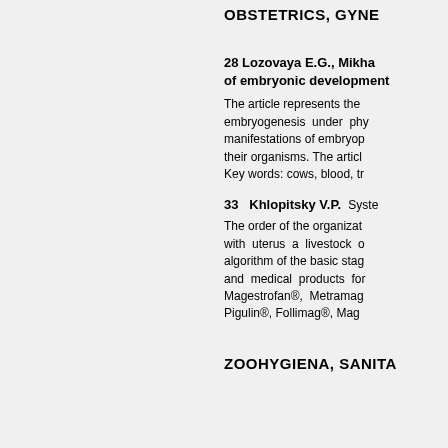OBSTETRICS, GYNE…
28 Lozovaya E.G., Mikh… of embryonic development
The article represents the… embryogenesis under phy… manifestations of embryop… their organisms. The articl… Key words: cows, blood, tr…
33  Khlopitsky V.P.  Syste…
The order of the organizat… with uterus a livestock o… algorithm of the basic stag… and medical products for… Magestrofan®, Metramag… Pigulin®, Follimag®, Mag…
ZOOHYGIENA, SANITA…